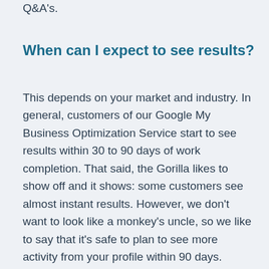Q&A's.
When can I expect to see results?
This depends on your market and industry. In general, customers of our Google My Business Optimization Service start to see results within 30 to 90 days of work completion. That said, the Gorilla likes to show off and it shows: some customers see almost instant results. However, we don't want to look like a monkey's uncle, so we like to say that it's safe to plan to see more activity from your profile within 90 days.